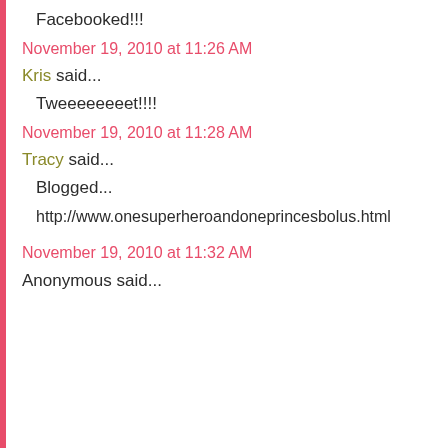Facebooked!!!
November 19, 2010 at 11:26 AM
Kris said...
Tweeeeeeeet!!!!
November 19, 2010 at 11:28 AM
Tracy said...
Blogged...
http://www.onesuperheroandoneprincesbolus.html
November 19, 2010 at 11:32 AM
Anonymous said...